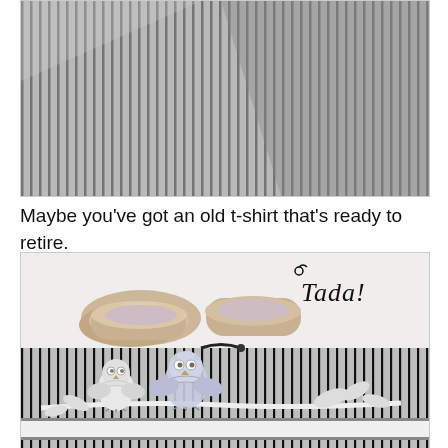[Figure (photo): Close-up photo of black and white striped fabric on a light surface]
Maybe you've got an old t-shirt that's ready to retire.
[Figure (photo): Photo of a drawstring bag made from black and white striped fabric with two white owl appliques on a branch, with beige ballet flats placed on top of the bag. Text 'Tada!' written in decorative font in upper right corner.]